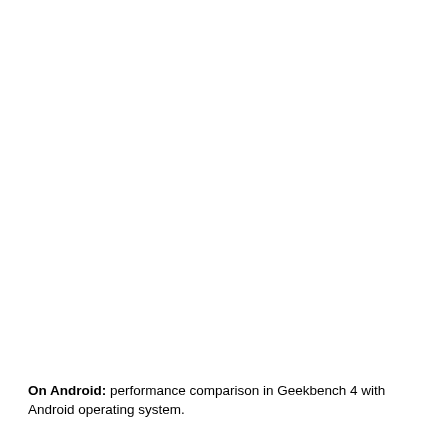On Android: performance comparison in Geekbench 4 with Android operating system.